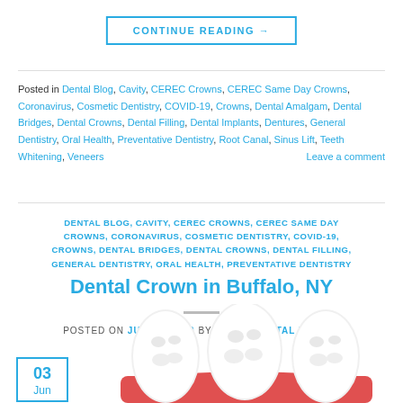CONTINUE READING →
Posted in Dental Blog, Cavity, CEREC Crowns, CEREC Same Day Crowns, Coronavirus, Cosmetic Dentistry, COVID-19, Crowns, Dental Amalgam, Dental Bridges, Dental Crowns, Dental Filling, Dental Implants, Dentures, General Dentistry, Oral Health, Preventative Dentistry, Root Canal, Sinus Lift, Teeth Whitening, Veneers    Leave a comment
DENTAL BLOG, CAVITY, CEREC CROWNS, CEREC SAME DAY CROWNS, CORONAVIRUS, COSMETIC DENTISTRY, COVID-19, CROWNS, DENTAL BRIDGES, DENTAL CROWNS, DENTAL FILLING, GENERAL DENTISTRY, ORAL HEALTH, PREVENTATIVE DENTISTRY
Dental Crown in Buffalo, NY
POSTED ON JUNE 3, 2020 BY TEACH DENTAL DENTAL
03 Jun
[Figure (illustration): 3D illustration of dental crowns / teeth model showing white molar teeth with red gum base]